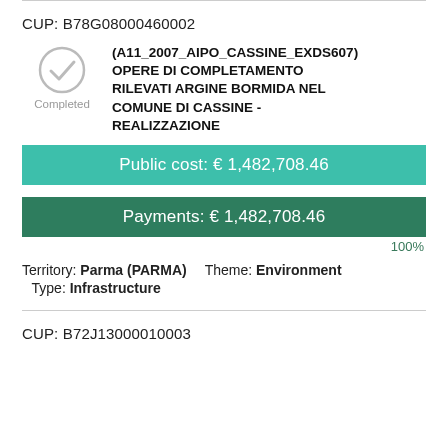CUP: B78G08000460002
[Figure (other): Completed status badge with checkmark circle icon and label 'Completed']
(A11_2007_AIPO_CASSINE_EXDS607) OPERE DI COMPLETAMENTO RILEVATI ARGINE BORMIDA NEL COMUNE DI CASSINE - REALIZZAZIONE
Public cost: € 1,482,708.46
Payments: € 1,482,708.46
100%
Territory: Parma (PARMA)   Theme: Environment
Type: Infrastructure
CUP: B72J13000010003